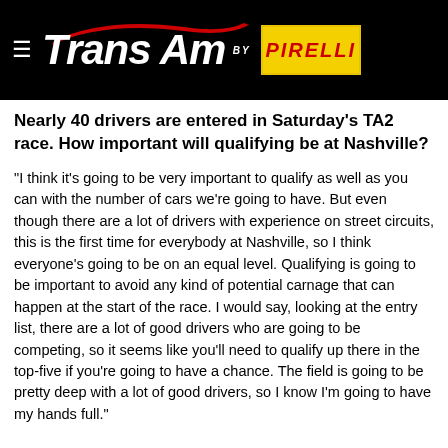[Figure (logo): Trans Am by Pirelli racing series header logo on black background with hamburger menu icon, red swoosh graphic, white italic Trans Am text, and yellow Pirelli box with red text]
Nearly 40 drivers are entered in Saturday’s TA2 race. How important will qualifying be at Nashville?
“I think it’s going to be very important to qualify as well as you can with the number of cars we’re going to have. But even though there are a lot of drivers with experience on street circuits, this is the first time for everybody at Nashville, so I think everyone’s going to be on an equal level. Qualifying is going to be important to avoid any kind of potential carnage that can happen at the start of the race. I would say, looking at the entry list, there are a lot of good drivers who are going to be competing, so it seems like you’ll need to qualify up there in the top-five if you’re going to have a chance. The field is going to be pretty deep with a lot of good drivers, so I know I’m going to have my hands full.”